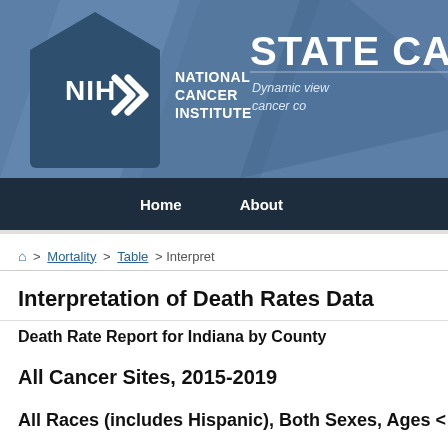[Figure (logo): NIH National Cancer Institute logo with STATE CA header banner and navigation bar]
Home   About
🏠 > Mortality > Table > Interpret
Interpretation of Death Rates Data
Death Rate Report for Indiana by County
All Cancer Sites, 2015-2019
All Races (includes Hispanic), Both Sexes, Ages <